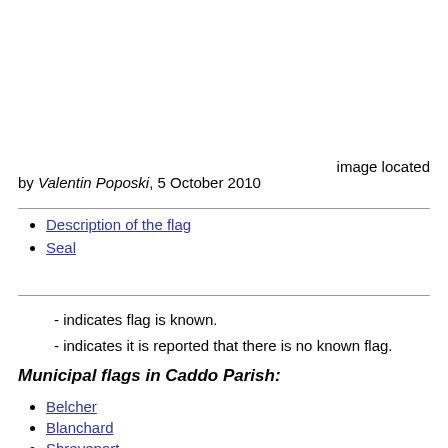image located
by Valentin Poposki, 5 October 2010
Description of the flag
Seal
- indicates flag is known.
- indicates it is reported that there is no known flag.
Municipal flags in Caddo Parish:
Belcher
Blanchard
Shreveport